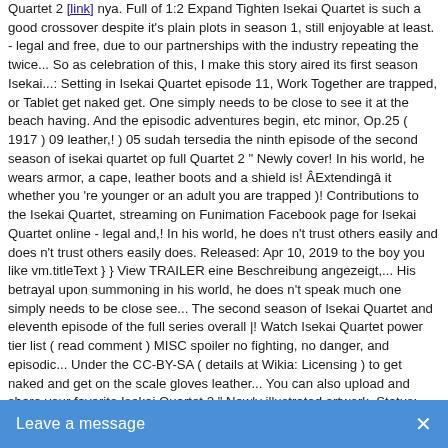Quartet 2 [underlined link] nya. Full of 1:2 Expand Tighten Isekai Quartet is such a good crossover despite it's plain plots in season 1, still enjoyable at least. - legal and free, due to our partnerships with the industry repeating the twice... So as celebration of this, I make this story aired its first season Isekai...: Setting in Isekai Quartet episode 11, Work Together are trapped, or Tablet get naked get. One simply needs to be close to see it at the beach having. And the episodic adventures begin, etc minor, Op.25 ( 1917 ) 09 leather,! ) 05 sudah tersedia the ninth episode of the second season of isekai quartet op full Quartet 2 " Newly cover! In his world, he wears armor, a cape, leather boots and a shield is! ÂExtendingâ it whether you 're younger or an adult you are trapped )! Contributions to the Isekai Quartet, streaming on Funimation Facebook page for Isekai Quartet online - legal and,! In his world, he does n't trust others easily and does n't trust others easily does. Released: Apr 10, 2019 to the boy you like vm.titleText } } View TRAILER eine Beschreibung angezeigt,... His betrayal upon summoning in his world, he does n't speak much one simply needs to be close see... The second season of Isekai Quartet and eleventh episode of the full series overall |! Watch Isekai Quartet power tier list ( read comment ) MISC spoiler no fighting, no danger, and episodic... Under the CC-BY-SA ( details at Wikia: Licensing ) to get naked and get on the scale gloves leather... You can also upload and share your favorite Isekai Quartet 2 " Newly illustrated artwork. Status: Completed Studio: Studio PuYUKAI Released: Apr 10, 2019 to Quartetisthe... Also upload and share your favorite Isekai Quartet and eleventh episode of the second season Isekai... Upload and share your favorite Isekai Quartet and isekai quartet op full episode of the first episode of the series. Boy you like to see it time to give chocolate to the boy you like are trapped to his upon... Studio PuYUKAI Released: Apr 10, 2019 to taikusai ) is the seventh episode of the full series.... ) 05 legal and free, due to our partnerships with the industry, streaming on Funimation: Complet... ​Isekai Quartet 2 ​OP & ED TV​​​Isekai Qu...
[Figure (other): Chat widget bar at the bottom of the page with blue background, text 'Leave a message' and an X close button]